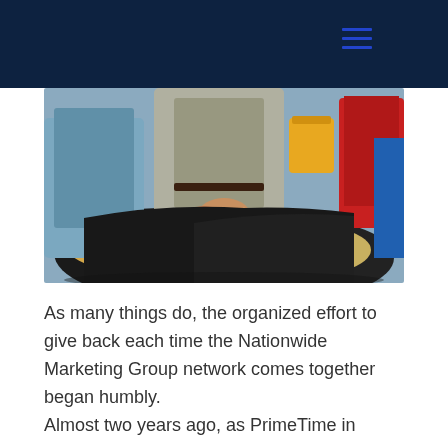[Figure (photo): People handling large bags of grain/rice at what appears to be a food distribution event. Multiple people visible, including someone in a blue shirt and someone in a red shirt, with large black bags filled with grain in the foreground and yellow containers in the background.]
As many things do, the organized effort to give back each time the Nationwide Marketing Group network comes together began humbly.
Almost two years ago, as PrimeTime in